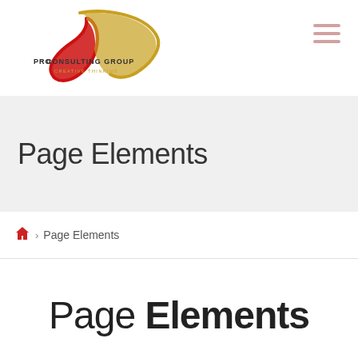[Figure (logo): Pro Consulting Group logo with red and gold swoosh design and text 'PRO CONSULTING GROUP' with tagline 'Creative Thinking']
[Figure (other): Hamburger menu icon with three horizontal lines in light pink/red color]
Page Elements
Home › Page Elements
Page Elements